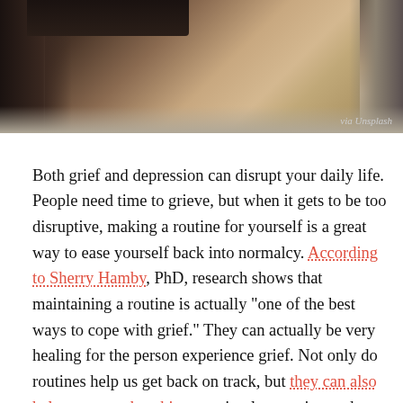[Figure (photo): Partial view of a person's legs sitting on a surface, dark moody background, with 'via Unsplash' caption in bottom right]
via Unsplash
Both grief and depression can disrupt your daily life. People need time to grieve, but when it gets to be too disruptive, making a routine for yourself is a great way to ease yourself back into normalcy. According to Sherry Hamby, PhD, research shows that maintaining a routine is actually "one of the best ways to cope with grief." They can actually be very healing for the person experience grief. Not only do routines help us get back on track, but they can also help us remember things as simple as eating and bathing while our minds are otherwise occupied with grief. You can read how to rebuild your routine here.